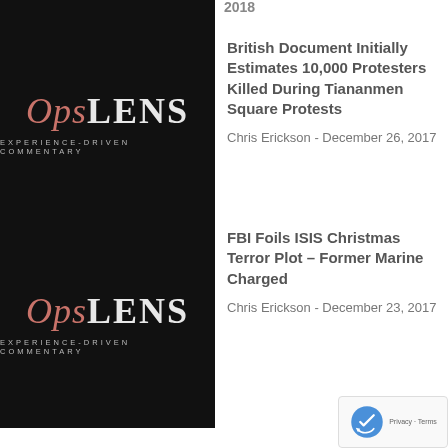[Figure (logo): OpsLens logo - Experience-Driven Commentary on black background (partial top strip)]
[Figure (logo): OpsLens logo - Experience-Driven Commentary on black background]
British Document Initially Estimates 10,000 Protesters Killed During Tiananmen Square Protests
Chris Erickson - December 26, 2017
[Figure (logo): OpsLens logo - Experience-Driven Commentary on black background]
FBI Foils ISIS Christmas Terror Plot – Former Marine Charged
Chris Erickson - December 23, 2017